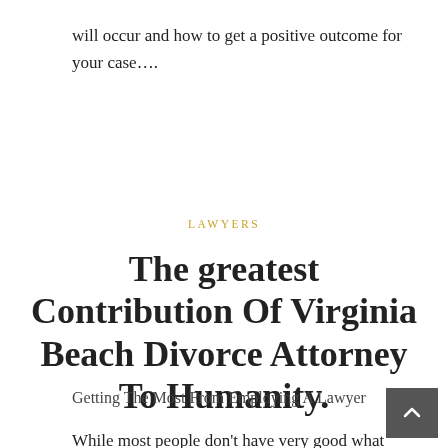will occur and how to get a positive outcome for your case….
LAWYERS
The greatest Contribution Of Virginia Beach Divorce Attorney To Humanity.
Getting The Most From Employing A Lawyer
While most people don't have very good what you